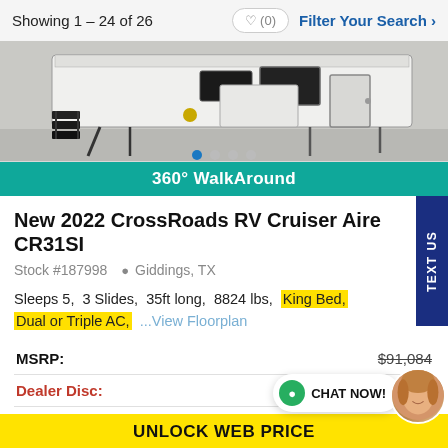Showing 1 – 24 of 26
[Figure (photo): RV exterior photo showing the rear/side of a white travel trailer with stabilizer jacks deployed, on a concrete surface]
360° WalkAround
New 2022 CrossRoads RV Cruiser Aire CR31SI
Stock #187998  Giddings, TX
Sleeps 5,  3 Slides,  35ft long,  8824 lbs,  King Bed,  Dual or Triple AC,  ...View Floorplan
|  |  |
| --- | --- |
| MSRP: | $91,084 |
| Dealer Disc: | $26,089 |
| Sale: | $64,995 |
UNLOCK WEB PRICE